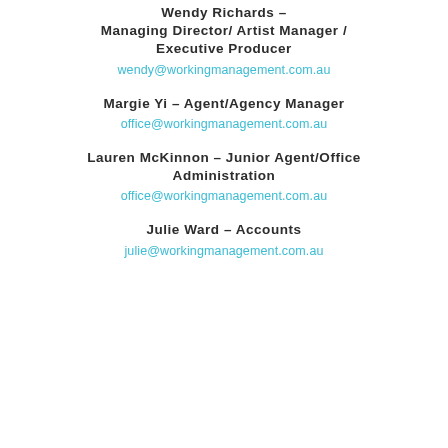Wendy Richards – Managing Director/ Artist Manager / Executive Producer
wendy@workingmanagement.com.au
Margie Yi – Agent/Agency Manager
office@workingmanagement.com.au
Lauren McKinnon – Junior Agent/Office Administration
office@workingmanagement.com.au
Julie Ward – Accounts
julie@workingmanagement.com.au